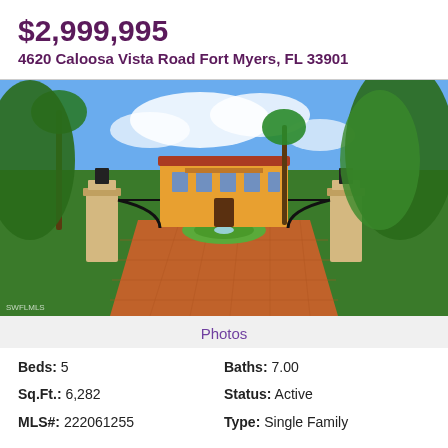$2,999,995
4620 Caloosa Vista Road Fort Myers, FL 33901
[Figure (photo): Exterior view of a large Spanish-style yellow mansion with red brick circular driveway, ornate iron gate entrance flanked by stucco pillars with lanterns, tropical landscaping with palm trees, and a central fountain roundabout.]
Photos
Beds: 5
Baths: 7.00
Sq.Ft.: 6,282
Status: Active
MLS#: 222061255
Type: Single Family